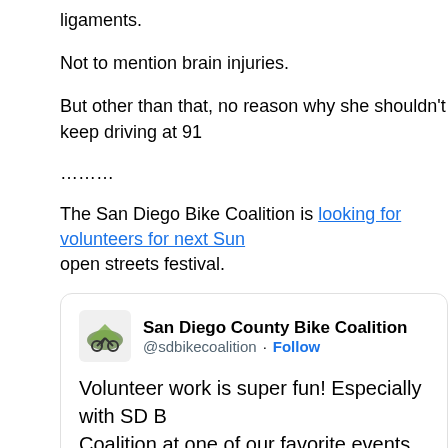ligaments.
Not to mention brain injuries.
But other than that, no reason why she shouldn't keep driving at 91
………
The San Diego Bike Coalition is looking for volunteers for next Sun open streets festival.
[Figure (screenshot): Embedded tweet from San Diego County Bike Coalition (@sdbikecoalition) with Follow button. Tweet text: 'Volunteer work is super fun! Especially with SD B Coalition at one of our favorite events of the yea We're seeking 40 volunteers to help at @CicloS on Sunday, November 7th. Learn more about available opportunities sdbikecoalition.org/civicrm%3Fval%']